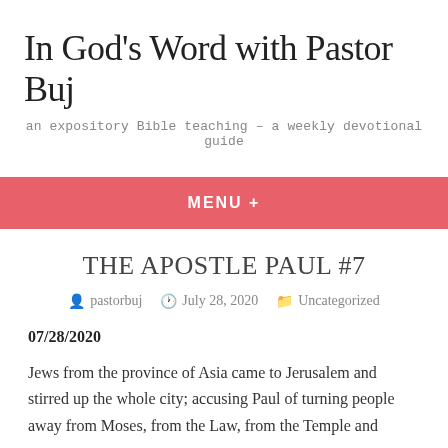In God's Word with Pastor Buj
an expository Bible teaching – a weekly devotional guide
MENU +
THE APOSTLE PAUL #7
pastorbuj   July 28, 2020   Uncategorized
07/28/2020
Jews from the province of Asia came to Jerusalem and stirred up the whole city; accusing Paul of turning people away from Moses, from the Law, from the Temple and